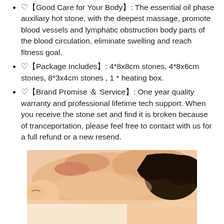♡【Good Care for Your Body】: The essential oil phase auxiliary hot stone, with the deepest massage, promote blood vessels and lymphatic obstruction body parts of the blood circulation, eliminate swelling and reach fitness goal.
♡【Package Includes】: 4*8x8cm stones, 4*8x6cm stones, 8*3x4cm stones , 1 * heating box.
♡【Brand Promise ＆ Service】: One year quality warranty and professional lifetime tech support. When you receive the stone set and find it is broken because of tranceportation, please feel free to contact with us for a full refund or a new resend.
[Figure (photo): Woman receiving a back/shoulder massage, lying down with eyes closed, spa setting]